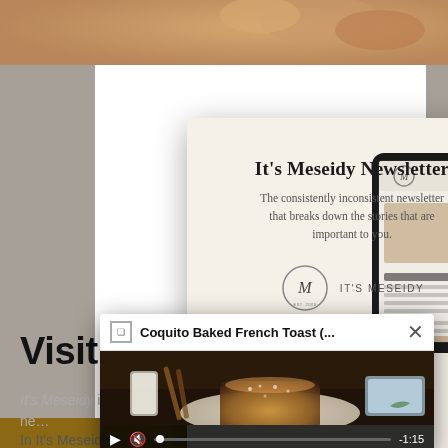[Figure (screenshot): Newsletter signup modal popup with cream background. Shows 'It's Meseidy Newsletter' title, subtitle text, logo, and a tablet device mockup on the right. Close X button in top right corner.]
It's Meseidy Newsletter
The consistently inconsistent newsletter that breaks down the stories that are important to you.
[Figure (logo): It's Meseidy circular logo with stylized M and text IT'S MESEIDY]
Visit me at It's Meseidy
It's Meseidy is wh… ne…
In It's Meseidy m… new articles, new… summary of the…
[Figure (screenshot): Video popup showing 'Coquito Baked French Toast (…' in title bar with close X button. Thumbnail shows French toast on a plate with powdered sugar, a glass of milk and cinnamon sticks in background. Video controls bar at bottom showing play button, mute, progress bar with dot, and -1:15 timestamp.]